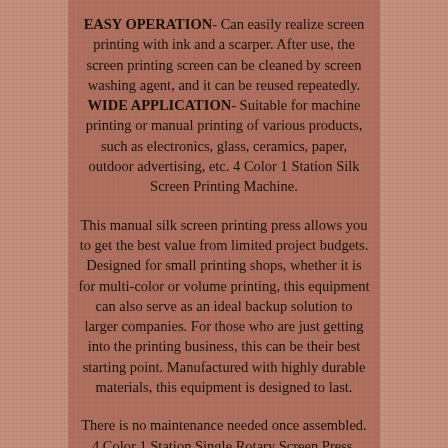EASY OPERATION- Can easily realize screen printing with ink and a scarper. After use, the screen printing screen can be cleaned by screen washing agent, and it can be reused repeatedly. WIDE APPLICATION- Suitable for machine printing or manual printing of various products, such as electronics, glass, ceramics, paper, outdoor advertising, etc. 4 Color 1 Station Silk Screen Printing Machine.
This manual silk screen printing press allows you to get the best value from limited project budgets. Designed for small printing shops, whether it is for multi-color or volume printing, this equipment can also serve as an ideal backup solution to larger companies. For those who are just getting into the printing business, this can be their best starting point. Manufactured with highly durable materials, this equipment is designed to last.
There is no maintenance needed once assembled. 4 Color 1 Station Single Rotary Screen Press.